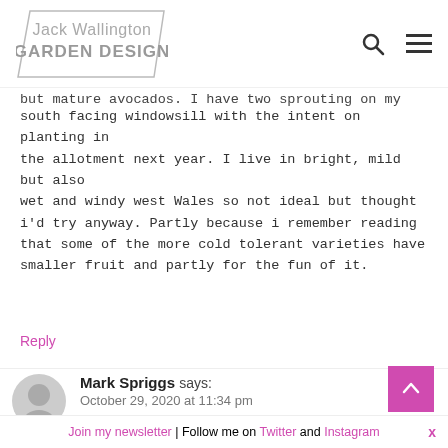[Figure (logo): Jack Wallington Garden Design logo with parallelogram border]
but mature avocados. I have two sprouting on my south facing windowsill with the intent on planting in the allotment next year. I live in bright, mild but also wet and windy west Wales so not ideal but thought i'd try anyway. Partly because i remember reading that some of the more cold tolerant varieties have smaller fruit and partly for the fun of it.
Reply
Mark Spriggs says:
October 29, 2020 at 11:34 pm
Hi there Jack and everybody,
I'm an Arborist and am fascinated by this discussion. Like others here I want to try to grow the Mexican...
Join my newsletter | Follow me on Twitter and Instagram  X